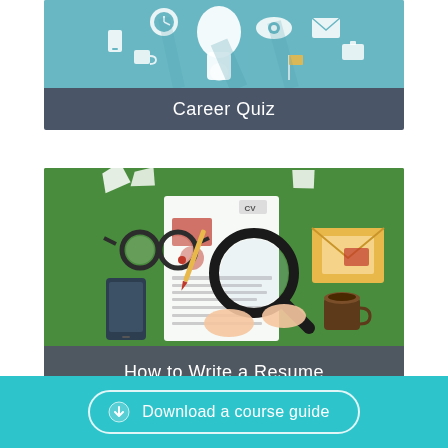[Figure (illustration): Career quiz card with teal background showing flat design icons of a human head silhouette, clock, eye, mobile phone, coffee cup, envelope, briefcase and other career/professional icons with long shadows. Bottom section is dark gray with white text 'Career Quiz'.]
[Figure (illustration): How to Write a Resume card with green background showing illustration of hands holding a magnifying glass over a CV/resume document, with glasses, a pen, papers, a yellow envelope, a smartphone, and a coffee cup. Bottom section is semi-transparent dark with white text 'How to Write a Resume'.]
Download a course guide